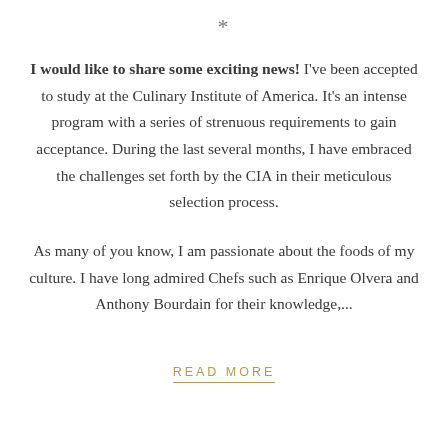*
I would like to share some exciting news! I've been accepted to study at the Culinary Institute of America. It's an intense program with a series of strenuous requirements to gain acceptance. During the last several months, I have embraced the challenges set forth by the CIA in their meticulous selection process.
As many of you know, I am passionate about the foods of my culture. I have long admired Chefs such as Enrique Olvera and Anthony Bourdain for their knowledge,...
READ MORE